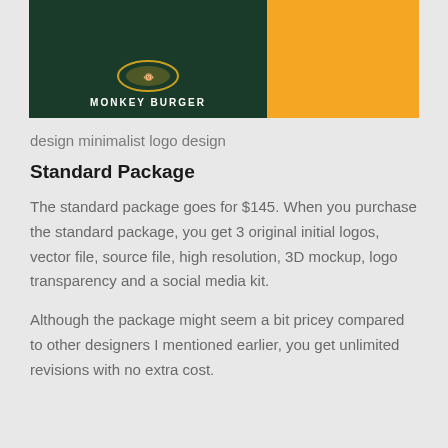[Figure (logo): Monkey Burger logo on dark green background on the left and an orange/yellow rectangle on the right]
design minimalist logo design
Standard Package
The standard package goes for $145. When you purchase the standard package, you get 3 original initial logos, vector file, source file, high resolution, 3D mockup, logo transparency and a social media kit.
Although the package might seem a bit pricey compared to other designers I mentioned earlier, you get unlimited revisions with no extra cost.